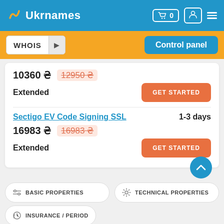[Figure (logo): Ukrnames logo with shopping cart icon showing 0, user icon, and hamburger menu on blue header]
WHOIS
Control panel
10360 ₴   12950 ₴
Extended
GET STARTED
Sectigo EV Code Signing SSL   1-3 days
16983 ₴   16983 ₴
Extended
GET STARTED
BASIC PROPERTIES
TECHNICAL PROPERTIES
INSURANCE / PERIOD